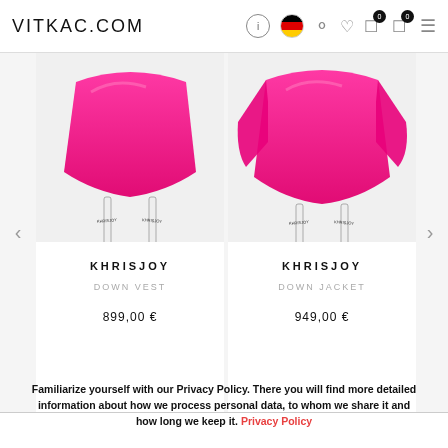VITKAC.COM
[Figure (photo): Pink down vest from KHRISJOY with branded straps on light grey background]
KHRISJOY
DOWN VEST
899,00 €
[Figure (photo): Pink down jacket from KHRISJOY with branded straps on light grey background]
KHRISJOY
DOWN JACKET
949,00 €
Familiarize yourself with our Privacy Policy. There you will find more detailed information about how we process personal data, to whom we share it and how long we keep it. Privacy Policy
ACCEPT